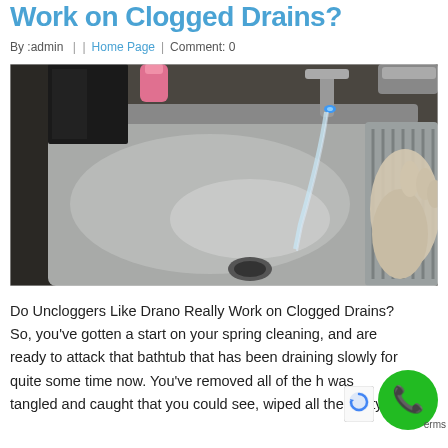Work on Clogged Drains?
By :admin  |  |  Home Page  |  Comment: 0
[Figure (photo): Photo of a stainless steel kitchen sink with running water from a faucet with a blue LED light, a person wearing a glove on the right side, and cleaning products visible in the background on a granite countertop.]
Do Uncloggers Like Drano Really Work on Clogged Drains? So, you've gotten a start on your spring cleaning, and are ready to attack that bathtub that has been draining slowly for quite some time now. You've removed all of the h was tangled and caught that you could see, wiped all the nasty…